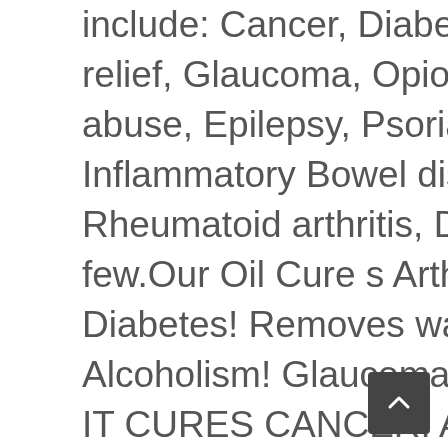include: Cancer, Diabetes, Crohn's disease, Gout, Pain relief, Glaucoma, Opioid Dependence, treating Alcohol abuse, Epilepsy, Psoriasis, Asthma, Adrenal disease, Inflammatory Bowel disease, Fibromyalgia, Rheumatoid arthritis, Dravet syndrome just to name a few.Our Oil Cure s Arthritis! Snoring! Diarrhea! Acne! Diabetes! Removes warts! Mighraines! Lose weight! Alcoholism! Glaucoma!
IT CURES CANCER! All forms of cancer!
Based on historical evidence, cannabis is believed to have originated from Central Asia. Cannabis is one of the oldest plant medicines known to man. It is difficult to trace the beginnings of cannabis use by humans because it was cultivated and consumed long before the appearance of writing. According to archeological discoveries, the use of cannabis as a medicinal base has been known in China since the Neolithic period,